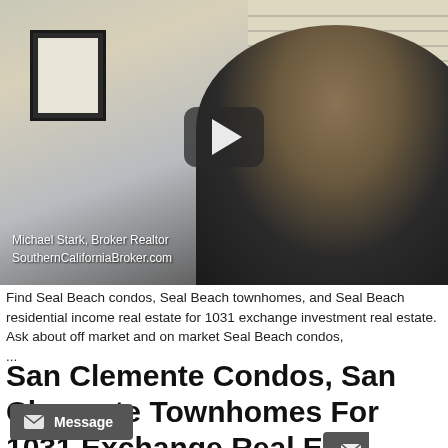[Figure (screenshot): Video thumbnail showing Michael Stark, Broker Realtor from SouthernCaliforniaBroker.com, sitting in an office with window blinds and a framed certificate on the wall. A YouTube-style play button overlay is visible in the center of the image.]
Find Seal Beach condos, Seal Beach townhomes, and Seal Beach residential income real estate for 1031 exchange investment real estate.
Ask about off market and on market Seal Beach condos,
...
San Clemente Condos, San Clemente Townhomes For 1031 Exchange Real Estate Investment